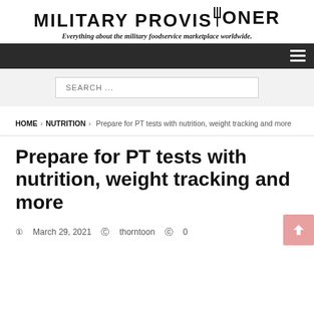MILITARY PROVISIONER
Everything about the military foodservice marketplace worldwide.
SEARCH ...
HOME > NUTRITION > Prepare for PT tests with nutrition, weight tracking and more
Prepare for PT tests with nutrition, weight tracking and more
March 29, 2021  thorntoon  0